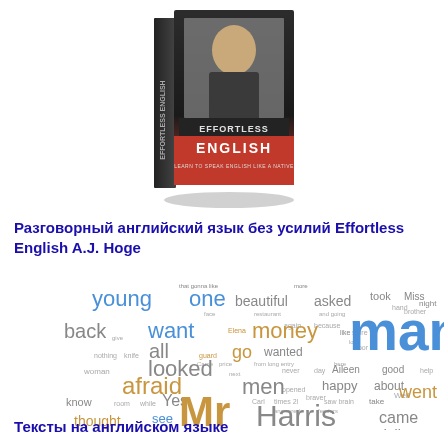[Figure (illustration): Book cover of 'Effortless English: Learn to Speak English Like a Native' by A.J. Hoge, shown as a 3D book with a man's photo on the cover.]
Разговорный английский язык без усилий Effortless English A.J. Hoge
[Figure (infographic): Word cloud of English vocabulary words in various sizes and colors (blue, gold, gray). Prominent words include: man, went, Mr, Harris, afraid, men, three, now, people, thought, dog, back, want, young, one, beautiful, asked, took, money, go, looked, Aileen, happy, came, dollars, Tildy, time, train, know, Yes, see, came, and many smaller words.]
Тексты на английском языке